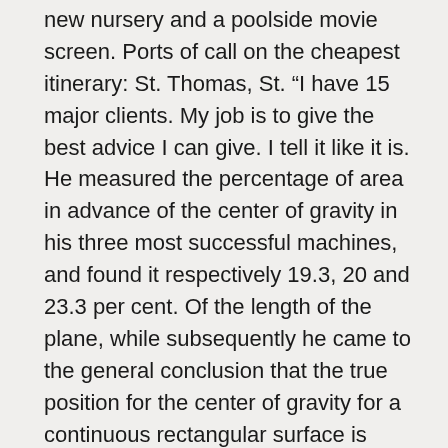new nursery and a poolside movie screen. Ports of call on the cheapest itinerary: St. Thomas, St. “I have 15 major clients. My job is to give the best advice I can give. I tell it like it is. He measured the percentage of area in advance of the center of gravity in his three most successful machines, and found it respectively 19.3, 20 and 23.3 per cent. Of the length of the plane, while subsequently he came to the general conclusion that the true position for the center of gravity for a continuous rectangular surface is situated between 0.25 and 0.2 of the length from the forward end, these positions being arrived at “by experience gained by repeated wrecks when groping in comparative darkness.”This independent working out of a complex question well illustrates the perseverance and ingenuity of this experimenter. Hargrave built another flying machine, actuated by compressed air and propelled by beating wings.